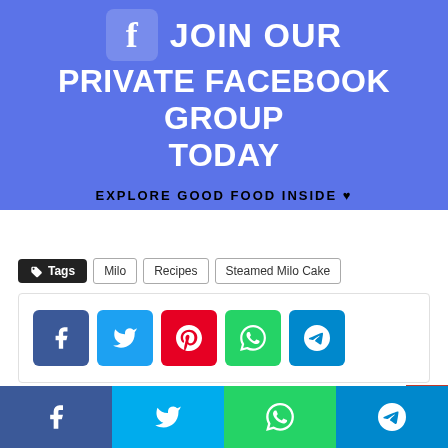[Figure (infographic): Blue Facebook group promotional banner with Facebook icon, text 'JOIN OUR PRIVATE FACEBOOK GROUP TODAY' and 'EXPLORE GOOD FOOD INSIDE ♥']
Tags  Milo  Recipes  Steamed Milo Cake
[Figure (infographic): Social share buttons: Facebook, Twitter, Pinterest, WhatsApp, Telegram]
[Figure (infographic): Bottom share bar with Facebook, Twitter, WhatsApp, Telegram icons]